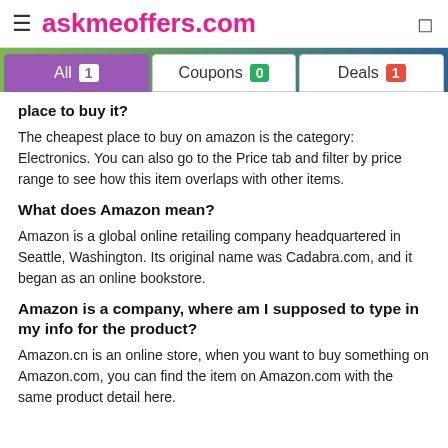askmeoffers.com
All 1   Coupons 0   Deals 1
place to buy it?
The cheapest place to buy on amazon is the category: Electronics. You can also go to the Price tab and filter by price range to see how this item overlaps with other items.
What does Amazon mean?
Amazon is a global online retailing company headquartered in Seattle, Washington. Its original name was Cadabra.com, and it began as an online bookstore.
Amazon is a company, where am I supposed to type in my info for the product?
Amazon.cn is an online store, when you want to buy something on Amazon.com, you can find the item on Amazon.com with the same product detail here.